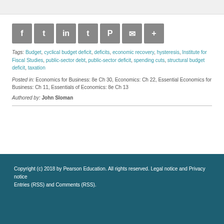[Figure (other): Social share icons: Facebook, Twitter, LinkedIn, Tumblr, Pinterest, Email, More]
Tags: Budget, cyclical budget deficit, deficits, economic recovery, hysteresis, Institute for Fiscal Studies, public-sector debt, public-sector deficit, spending cuts, structural budget deficit, taxation
Posted in: Economics for Business: 8e Ch 30, Economics: Ch 22, Essential Economics for Business: Ch 11, Essentials of Economics: 8e Ch 13
Authored by: John Sloman
Copyright (c) 2018 by Pearson Education. All rights reserved. Legal notice and Privacy notice
Entries (RSS) and Comments (RSS).